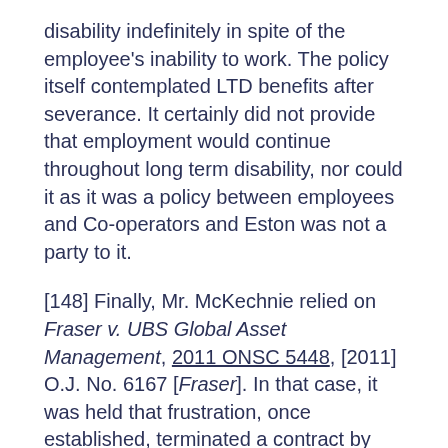disability indefinitely in spite of the employee's inability to work. The policy itself contemplated LTD benefits after severance. It certainly did not provide that employment would continue throughout long term disability, nor could it as it was a policy between employees and Co-operators and Eston was not a party to it.
[148] Finally, Mr. McKechnie relied on Fraser v. UBS Global Asset Management, 2011 ONSC 5448, [2011] O.J. No. 6167 [Fraser]. In that case, it was held that frustration, once established, terminated a contract by operation of law and that nothing more need be done: Fraser at para. 15. The Court held that an employer is entitled to rely on evidence disclosed subsequent to the termination to establish